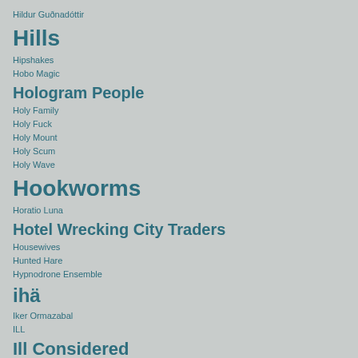Hildur Guðnadóttir
Hills
Hipshakes
Hobo Magic
Hologram People
Holy Family
Holy Fuck
Holy Mount
Holy Scum
Holy Wave
Hookworms
Horatio Luna
Hotel Wrecking City Traders
Housewives
Hunted Hare
Hypnodrone Ensemble
ihä
Iker Ormazabal
ILL
Ill Considered
Intelligence Service